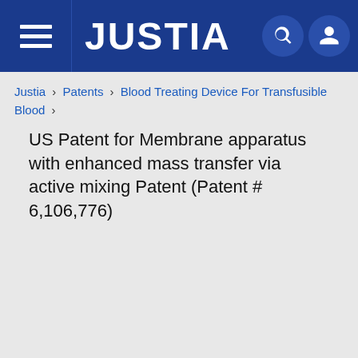JUSTIA
Justia › Patents › Blood Treating Device For Transfusible Blood ›
US Patent for Membrane apparatus with enhanced mass transfer via active mixing Patent (Patent # 6,106,776)